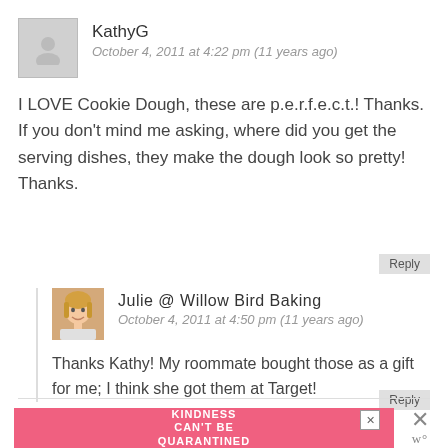KathyG
October 4, 2011 at 4:22 pm (11 years ago)
I LOVE Cookie Dough, these are p.e.r.f.e.c.t.! Thanks. If you don't mind me asking, where did you get the serving dishes, they make the dough look so pretty! Thanks.
Reply
Julie @ Willow Bird Baking
October 4, 2011 at 4:50 pm (11 years ago)
Thanks Kathy! My roommate bought those as a gift for me; I think she got them at Target!
Reply
[Figure (infographic): Pink advertisement banner with text KINDNESS CAN'T BE QUARANTINED with close buttons]